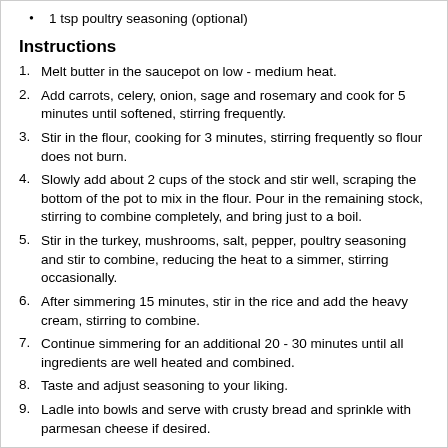1 tsp poultry seasoning (optional)
Instructions
1. Melt butter in the saucepot on low - medium heat.
2. Add carrots, celery, onion, sage and rosemary and cook for 5 minutes until softened, stirring frequently.
3. Stir in the flour, cooking for 3 minutes, stirring frequently so flour does not burn.
4. Slowly add about 2 cups of the stock and stir well, scraping the bottom of the pot to mix in the flour. Pour in the remaining stock, stirring to combine completely, and bring just to a boil.
5. Stir in the turkey, mushrooms, salt, pepper, poultry seasoning and stir to combine, reducing the heat to a simmer, stirring occasionally.
6. After simmering 15 minutes, stir in the rice and add the heavy cream, stirring to combine.
7. Continue simmering for an additional 20 - 30 minutes until all ingredients are well heated and combined.
8. Taste and adjust seasoning to your liking.
9. Ladle into bowls and serve with crusty bread and sprinkle with parmesan cheese if desired.